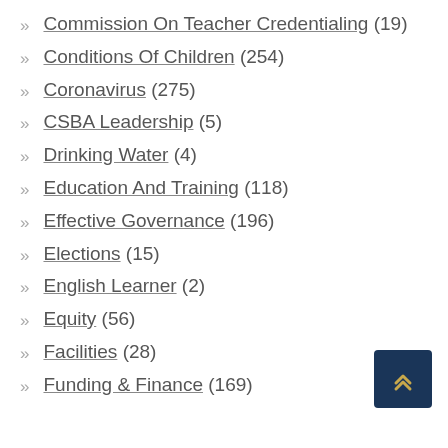Commission On Teacher Credentialing (19)
Conditions Of Children (254)
Coronavirus (275)
CSBA Leadership (5)
Drinking Water (4)
Education And Training (118)
Effective Governance (196)
Elections (15)
English Learner (2)
Equity (56)
Facilities (28)
Funding & Finance (169)